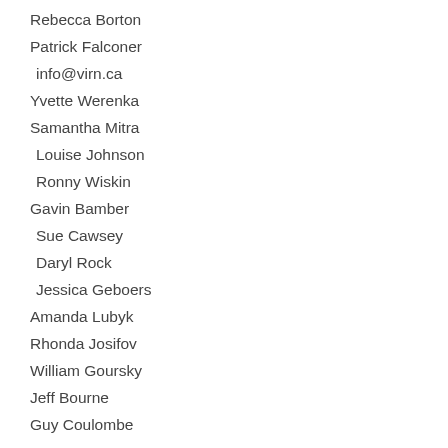Rebecca Borton
Patrick Falconer
info@virn.ca
Yvette Werenka
Samantha Mitra
Louise Johnson
Ronny Wiskin
Gavin Bamber
Sue Cawsey
Daryl Rock
Jessica Geboers
Amanda Lubyk
Rhonda Josifov
William Goursky
Jeff Bourne
Guy Coulombe